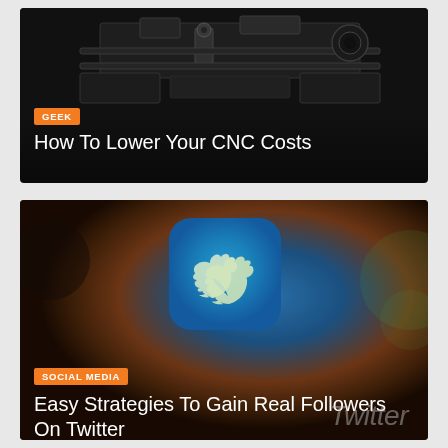[Figure (photo): Dark photo of CNC machine equipment with overlay text. Orange 'GEEK' category tag and white title 'How To Lower Your CNC Costs'.]
[Figure (photo): Close-up photo of Twitter app icon on a smartphone screen with brownish bokeh background. Blue rounded square with white Twitter bird logo. Orange 'SOCIAL MEDIA' tag and white title 'Easy Strategies To Gain Real Followers On Twitter'. Twitter watermark text visible.]